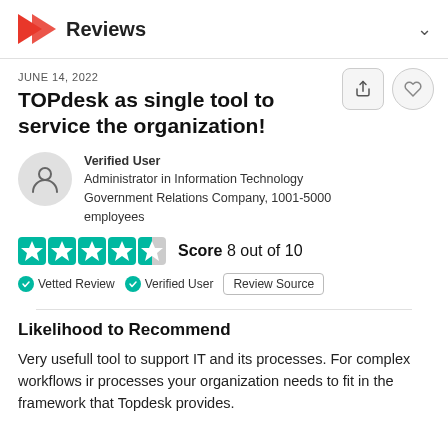Reviews
JUNE 14, 2022
TOPdesk as single tool to service the organization!
Verified User
Administrator in Information Technology
Government Relations Company, 1001-5000 employees
Score 8 out of 10
Vetted Review   Verified User   Review Source
Likelihood to Recommend
Very usefull tool to support IT and its processes. For complex workflows ir processes your organization needs to fit in the framework that Topdesk provides.